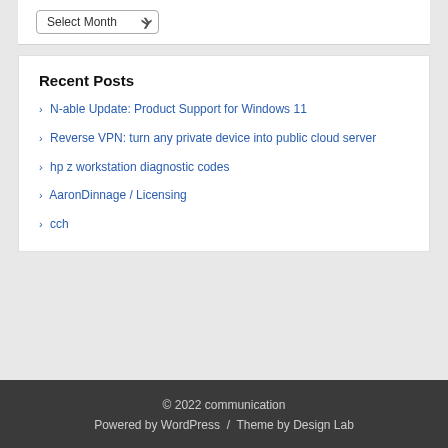Select Month
Recent Posts
N-able Update: Product Support for Windows 11
Reverse VPN: turn any private device into public cloud server
hp z workstation diagnostic codes
AaronDinnage / Licensing
cch
© 2022 communication
Powered by WordPress / Theme by Design Lab